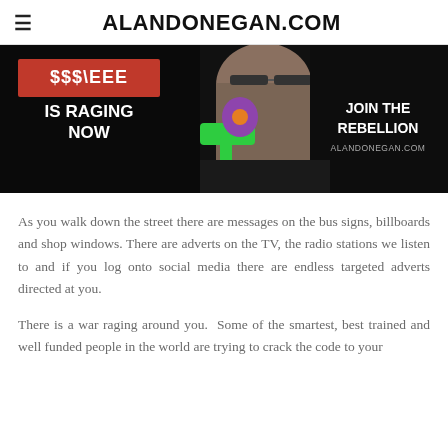ALANDONEGAN.COM
[Figure (photo): Promotional banner image showing a man pointing a colorful toy gun at the camera. Text on left reads '$$$\EEE IS RAGING NOW' on a red background, and on the right 'JOIN THE REBELLION ALANDONEGAN.COM' in white text on black background.]
As you walk down the street there are messages on the bus signs, billboards and shop windows. There are adverts on the TV, the radio stations we listen to and if you log onto social media there are endless targeted adverts directed at you.
There is a war raging around you.  Some of the smartest, best trained and well funded people in the world are trying to crack the code to your